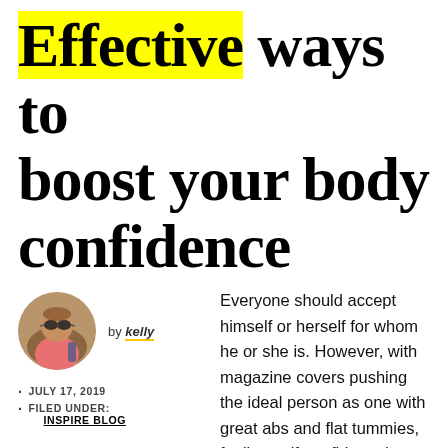Effective ways to boost your body confidence
[Figure (photo): Circular portrait photo of the author Kelly, wearing sunglasses outdoors with a pink top and backpack]
by kelly
JULY 17, 2019
FILED UNDER: INSPIRE BLOG
Everyone should accept himself or herself for whom he or she is. However, with magazine covers pushing the ideal person as one with great abs and flat tummies, feeling self-confident about